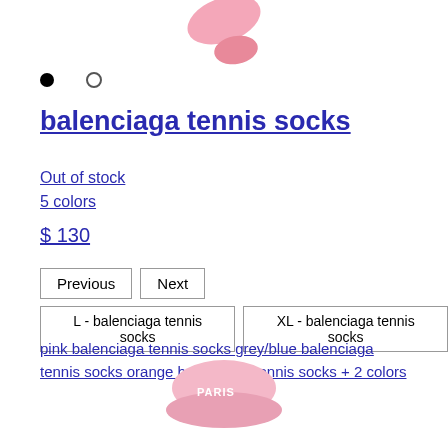[Figure (photo): Partial view of a pink Balenciaga product (sock/cap) cropped at top of page]
● ○
balenciaga tennis socks
Out of stock
5 colors
$ 130
Previous | Next
L - balenciaga tennis socks   XL - balenciaga tennis socks
pink balenciaga tennis socks grey/blue balenciaga tennis socks orange balenciaga tennis socks + 2 colors
[Figure (photo): Partial view of a pink Balenciaga Paris cap visible at bottom of page]